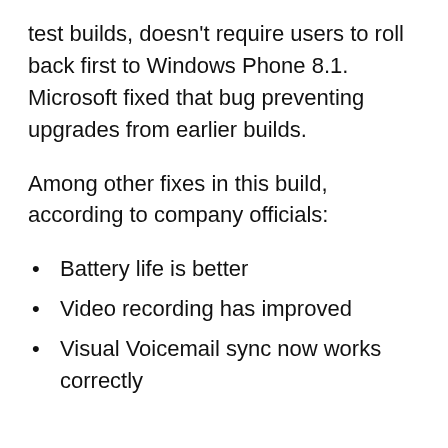test builds, doesn't require users to roll back first to Windows Phone 8.1. Microsoft fixed that bug preventing upgrades from earlier builds.
Among other fixes in this build, according to company officials:
Battery life is better
Video recording has improved
Visual Voicemail sync now works correctly